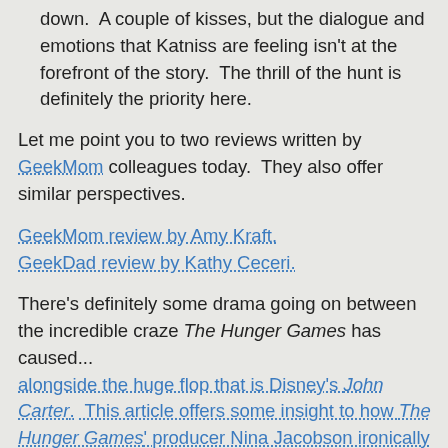The romance/love triangle is really played down. A couple of kisses, but the dialogue and emotions that Katniss are feeling isn't at the forefront of the story. The thrill of the hunt is definitely the priority here.
Let me point you to two reviews written by GeekMom colleagues today. They also offer similar perspectives.
GeekMom review by Amy Kraft. GeekDad review by Kathy Ceceri.
There's definitely some drama going on between the incredible craze The Hunger Games has caused... alongside the huge flop that is Disney's John Carter. This article offers some insight to how The Hunger Games' producer Nina Jacobson ironically used to be co-president of Disney Motion Picture Group. I wouldn't be surprised if The Hunger Games earns more